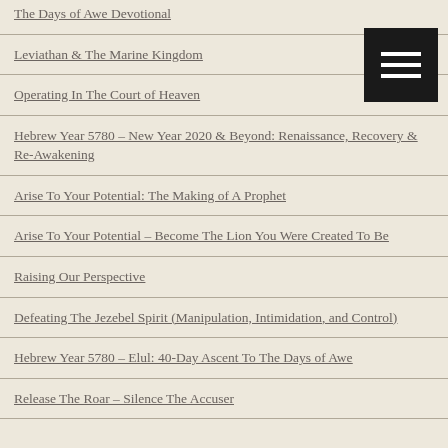The Days of Awe Devotional
Leviathan & The Marine Kingdom
Operating In The Court of Heaven
Hebrew Year 5780 – New Year 2020 & Beyond: Renaissance, Recovery & Re-Awakening
Arise To Your Potential: The Making of A Prophet
Arise To Your Potential – Become The Lion You Were Created To Be
Raising Our Perspective
Defeating The Jezebel Spirit (Manipulation, Intimidation, and Control)
Hebrew Year 5780 – Elul: 40-Day Ascent To The Days of Awe
Release The Roar – Silence The Accuser